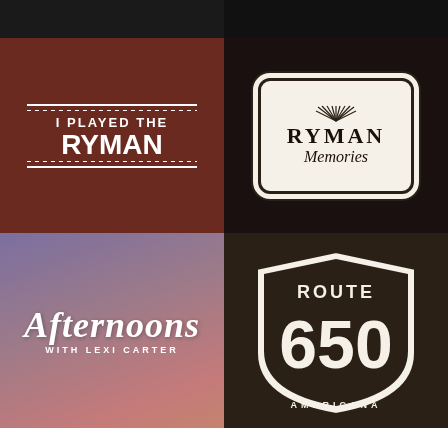[Figure (photo): Partial top strip: dark photo on left, dark photo on right — cropped tops of images]
[Figure (logo): I PLAYED THE RYMAN — bold white text on dark red/brown background with decorative lines, overlaid on Ryman Auditorium photo]
[Figure (logo): RYMAN Memories — vintage badge/label design in cream on dark background with stained glass]
[Figure (logo): Afternoons with Lexi Carter — cursive white script on purple-pink gradient background]
[Figure (logo): Route 650 Americana — highway shield logo on dark brown background]